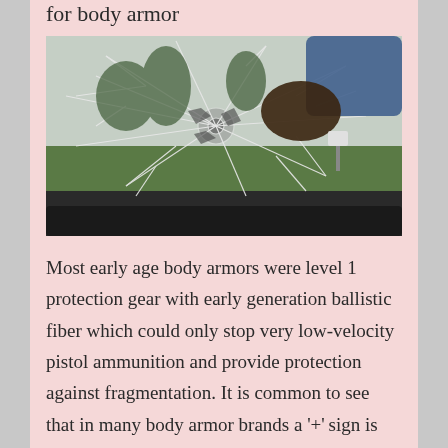for body armor
[Figure (photo): A shattered car windshield with a hand visible through the broken glass, taken from inside a vehicle. Trees and outdoor scenery visible through the damaged glass.]
Most early age body armors were level 1 protection gear with early generation ballistic fiber which could only stop very low-velocity pistol ammunition and provide protection against fragmentation. It is common to see that in many body armor brands a '+' sign is added following the threat level. What